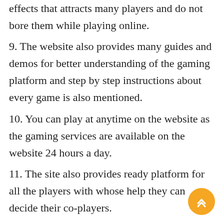effects that attracts many players and do not bore them while playing online.
9. The website also provides many guides and demos for better understanding of the gaming platform and step by step instructions about every game is also mentioned.
10. You can play at anytime on the website as the gaming services are available on the website 24 hours a day.
11. The site also provides ready platform for all the players with whose help they can decide their co-players.
12. With operation on both Android and IOS, you can easily access the website either on your mobile phone or even your